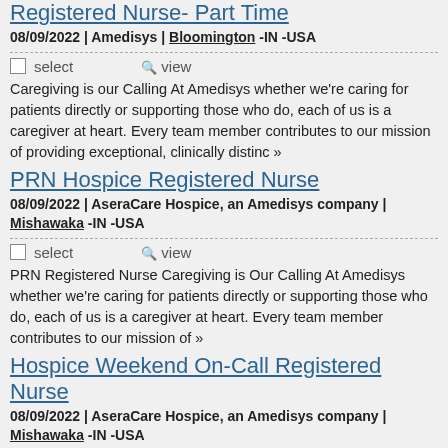Registered Nurse- Part Time
08/09/2022 | Amedisys | Bloomington -IN -USA
select   view
Caregiving is our Calling At Amedisys whether we're caring for patients directly or supporting those who do, each of us is a caregiver at heart. Every team member contributes to our mission of providing exceptional, clinically distinc »
PRN Hospice Registered Nurse
08/09/2022 | AseraCare Hospice, an Amedisys company | Mishawaka -IN -USA
select   view
PRN Registered Nurse Caregiving is Our Calling At Amedisys whether we're caring for patients directly or supporting those who do, each of us is a caregiver at heart. Every team member contributes to our mission of »
Hospice Weekend On-Call Registered Nurse
08/09/2022 | AseraCare Hospice, an Amedisys company | Mishawaka -IN -USA
select   view
Weekend On Call RN: Friday 5pm-Monday 8am Full Time Caregiving is Our Calling At Amedisys whether we're caring for patients directly or supporting those who do, each of us is a caregiver at heart. Every team mem »